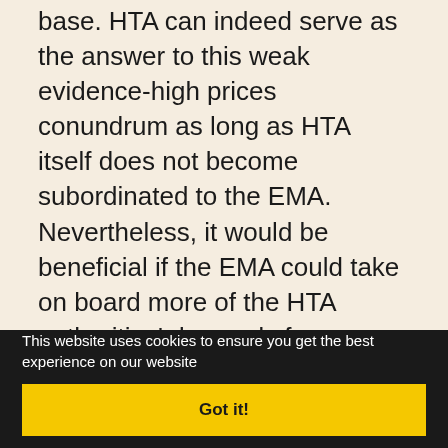base. HTA can indeed serve as the answer to this weak evidence-high prices conundrum as long as HTA itself does not become subordinated to the EMA. Nevertheless, it would be beneficial if the EMA could take on board more of the HTA authorities' demands for more stringent evidentiary requirements such as more comparative trials. This would offer companies clarity and increased predictability on the questions asked both by the EMA and HTA process at an earlier stage. The need for comparative trials against the best
This website uses cookies to ensure you get the best experience on our website
Got it!